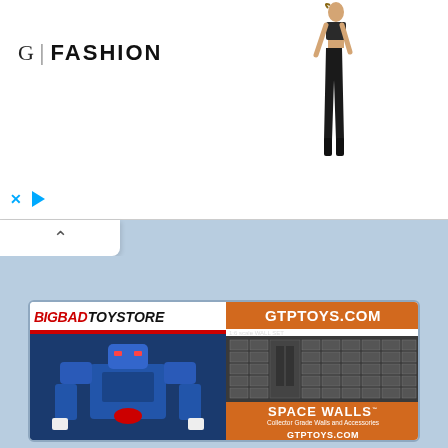[Figure (screenshot): Fashion advertisement banner with 'G | FASHION' logo on left and a woman in black outfit on the right. Has X and play button controls at bottom left and a collapse/up arrow button below the banner.]
[Figure (screenshot): Two advertisement boxes on a light blue background. Left: BigBadToyStore ad showing a blue Transformers robot toy. Right: GTPToys.com ad showing 'Space Walls - Collector Grade Walls and Accessories' product with wall set image.]